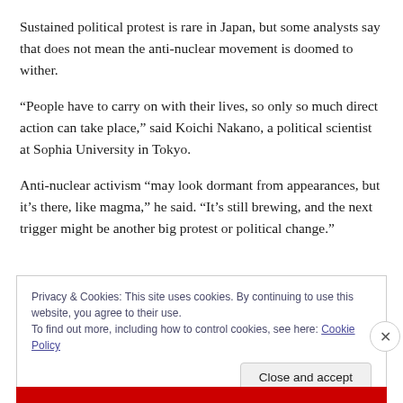Sustained political protest is rare in Japan, but some analysts say that does not mean the anti-nuclear movement is doomed to wither.
“People have to carry on with their lives, so only so much direct action can take place,” said Koichi Nakano, a political scientist at Sophia University in Tokyo.
Anti-nuclear activism “may look dormant from appearances, but it’s there, like magma,” he said. “It’s still brewing, and the next trigger might be another big protest or political change.”
Privacy & Cookies: This site uses cookies. By continuing to use this website, you agree to their use.
To find out more, including how to control cookies, see here: Cookie Policy